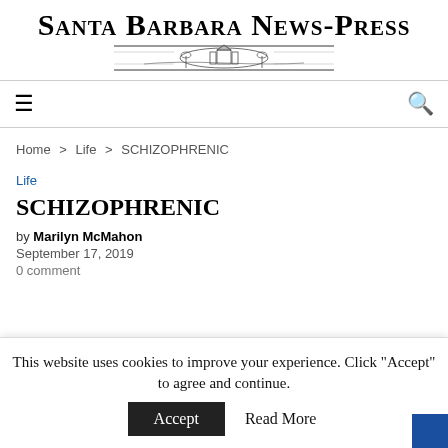SANTA BARBARA NEWS-PRESS
Home > Life > SCHIZOPHRENIC
Life
SCHIZOPHRENIC
by Marilyn McMahon
September 17, 2019
0 comment
This website uses cookies to improve your experience. Click "Accept" to agree and continue.